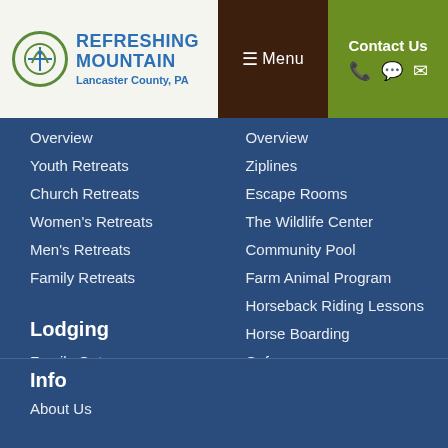[Figure (logo): Refreshing Mountain logo with circular emblem, blue text reading REFRESHING MOUNTAIN, Lancaster County, PA]
☰Menu | Contact Us
Overview
Youth Retreats
Church Retreats
Women's Retreats
Men's Retreats
Family Retreats
Lodging
Family Getaways
Cabin Rentals
Hotel Rooms
🎁 Gift Certificates
Overview
Ziplines
Escape Rooms
The Wildlife Center
Community Pool
Farm Animal Program
Horseback Riding Lessons
Horse Boarding
Cafe
Deals & Specials
School Field Trips
Homeschool Days
Obstacle & Ropes Courses
Info
About Us